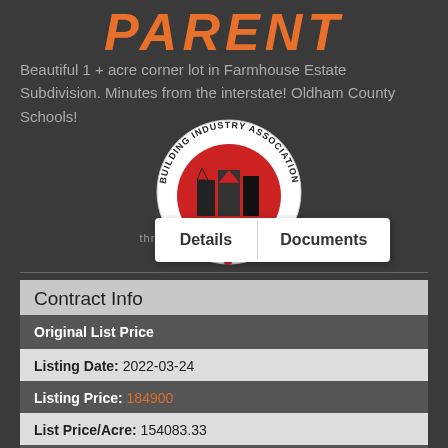PARENT
Beautiful 1 + acre corner lot in Farmhouse Estate Subdivision. Minutes from the interstate! Oldham County Schools!
[Figure (logo): Building Industry Association circular logo with red background and building silhouette]
Details | Documents
through the Building Industry
Contract Info
Original List Price
Listing Date: 2022-03-24
Listing Price: 184900
List Price/Acre: 154083.33
Property Sub Type: Residential Land